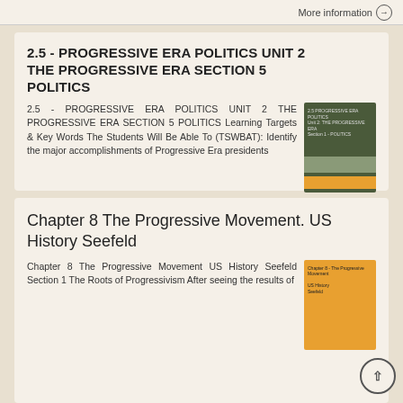More information →
2.5 - PROGRESSIVE ERA POLITICS UNIT 2 THE PROGRESSIVE ERA SECTION 5 POLITICS
2.5 - PROGRESSIVE ERA POLITICS UNIT 2 THE PROGRESSIVE ERA SECTION 5 POLITICS Learning Targets & Key Words The Students Will Be Able To (TSWBAT): Identify the major accomplishments of Progressive Era presidents
More information →
Chapter 8 The Progressive Movement. US History Seefeld
Chapter 8 The Progressive Movement US History Seefeld Section 1 The Roots of Progressivism After seeing the results of